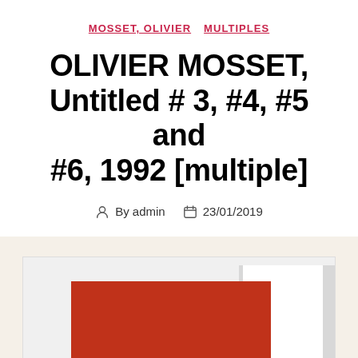MOSSET, OLIVIER   MULTIPLES
OLIVIER MOSSET, Untitled # 3, #4, #5 and #6, 1992 [multiple]
By admin   23/01/2019
[Figure (photo): Photograph of Olivier Mosset artworks showing red and white geometric shapes on white and grey backgrounds]